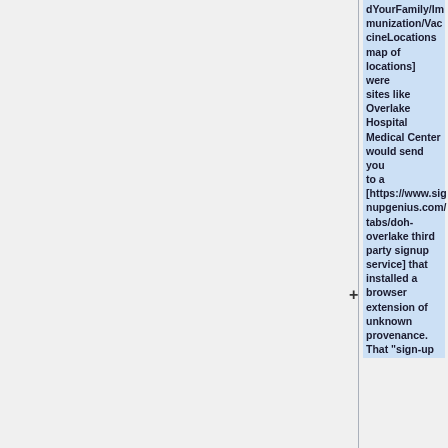dYourFamily/Immunization/VaccineLocations map of locations] were sites like Overlake Hospital Medical Center would send you to a [https://www.signupgenius.com/tabs/doh-overlake third party signup service] that installed a browser extension of unknown provenance. That "sign-up